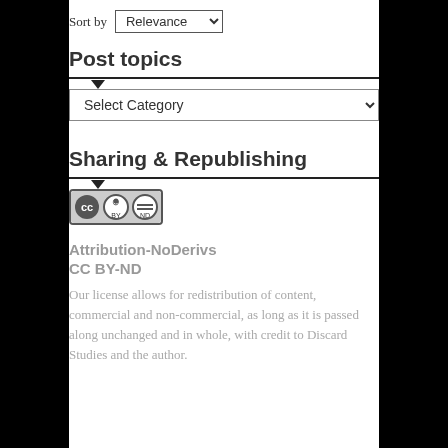Sort by Relevance
Post topics
[Figure (other): Dropdown labeled Select Category with chevron]
Sharing & Republishing
[Figure (logo): Creative Commons CC BY-ND license badge with CC, person, and equals icons]
Attribution-NoDerivs
CC BY-ND
Our license allows for redistribution of content, commercial and non-commercial, as long as it is passed along unchanged and in whole, with credit to Discard Studies and the author.